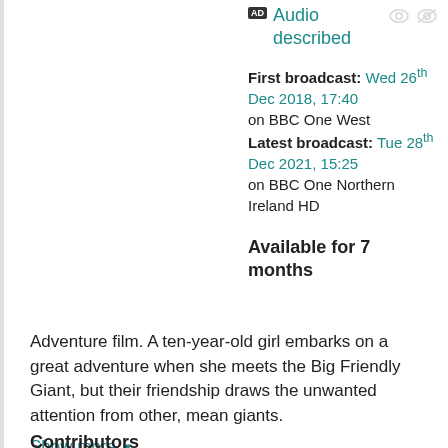Audio described
First broadcast: Wed 26th Dec 2018, 17:40 on BBC One West
Latest broadcast: Tue 28th Dec 2021, 15:25 on BBC One Northern Ireland HD
Available for 7 months
Adventure film. A ten-year-old girl embarks on a great adventure when she meets the Big Friendly Giant, but their friendship draws the unwanted attention from other, mean giants.
Show more
Contributors